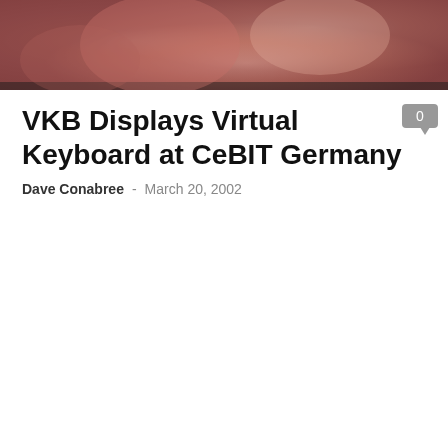[Figure (photo): Close-up photo of hands or skin, reddish-pink tones, top of the page]
VKB Displays Virtual Keyboard at CeBIT Germany
Dave Conabree  -  March 20, 2002